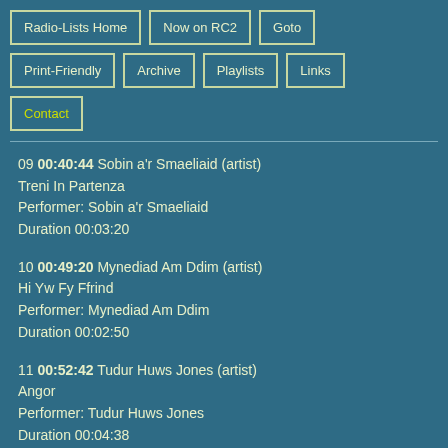Radio-Lists Home
Now on RC2
Goto
Print-Friendly
Archive
Playlists
Links
Contact
09 00:40:44 Sobin a'r Smaeliaid (artist)
Treni In Partenza
Performer: Sobin a'r Smaeliaid
Duration 00:03:20
10 00:49:20 Mynediad Am Ddim (artist)
Hi Yw Fy Ffrind
Performer: Mynediad Am Ddim
Duration 00:02:50
11 00:52:42 Tudur Huws Jones (artist)
Angor
Performer: Tudur Huws Jones
Duration 00:04:38